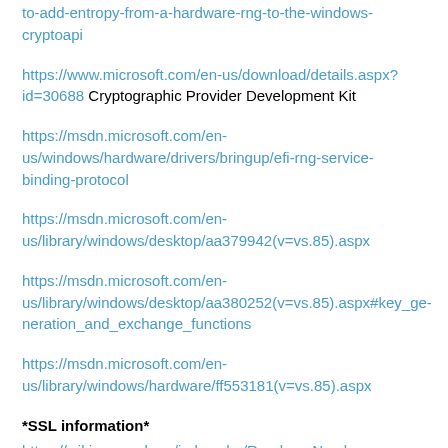to-add-entropy-from-a-hardware-rng-to-the-windows-cryptoapi
https://www.microsoft.com/en-us/download/details.aspx?id=30688 Cryptographic Provider Development Kit
https://msdn.microsoft.com/en-us/windows/hardware/drivers/bringup/efi-rng-service-binding-protocol
https://msdn.microsoft.com/en-us/library/windows/desktop/aa379942(v=vs.85).aspx
https://msdn.microsoft.com/en-us/library/windows/desktop/aa380252(v=vs.85).aspx#key_generation_and_exchange_functions
https://msdn.microsoft.com/en-us/library/windows/hardware/ff553181(v=vs.85).aspx
*SSL information*
https://wiki.openssl.org/index.php/Random_Numbers